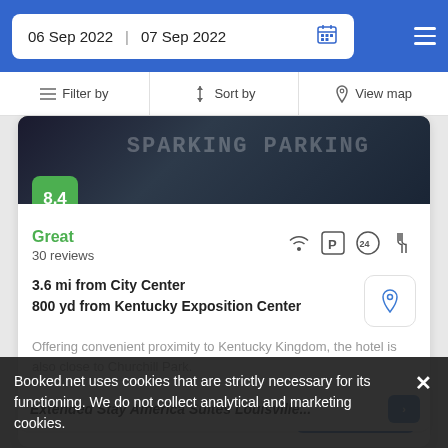06 Sep 2022  07 Sep 2022
Filter by  Sort by  View map
[Figure (screenshot): Dark hotel image area with parking sign text visible]
8.4
Great
30 reviews
3.6 mi from City Center
800 yd from Kentucky Exposition Center
Offering convenient proximity to Kentucky Kingdom, the hotel is also close to Churchill Park.
from  us$ 220/night  SELECT
Extended Stay America Suites Louisville...
Booked.net uses cookies that are strictly necessary for its functioning. We do not collect analytical and marketing cookies.